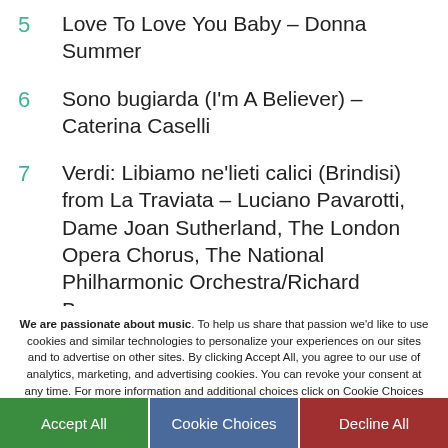5  Love To Love You Baby – Donna Summer
6  Sono bugiarda (I'm A Believer) – Caterina Caselli
7  Verdi: Libiamo ne'lieti calici (Brindisi) from La Traviata – Luciano Pavarotti, Dame Joan Sutherland, The London Opera Chorus, The National Philharmonic Orchestra/Richard Bonynge
We are passionate about music. To help us share that passion we'd like to use cookies and similar technologies to personalize your experiences on our sites and to advertise on other sites. By clicking Accept All, you agree to our use of analytics, marketing, and advertising cookies. You can revoke your consent at any time. For more information and additional choices click on Cookie Choices below. Privacy Policy.